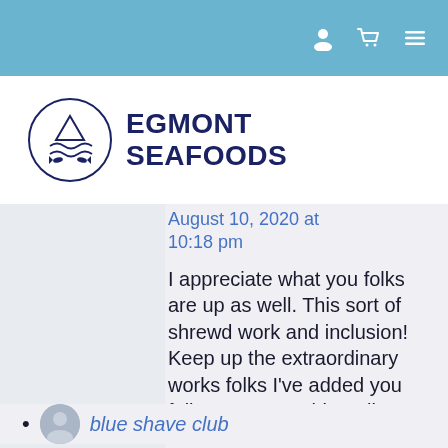[Navigation bar with user, cart, and menu icons]
[Figure (logo): Egmont Seafoods logo: circular emblem with fish and waves, dark navy blue, beside bold text 'EGMONT SEAFOODS']
August 10, 2020 at 10:18 pm
I appreciate what you folks are up as well. This sort of shrewd work and inclusion! Keep up the extraordinary works folks I've added you folks to my own blogroll.
blue shave club